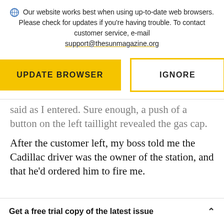Our website works best when using up-to-date web browsers. Please check for updates if you're having trouble. To contact customer service, e-mail support@thesunmagazine.org
[Figure (other): Two buttons: a yellow filled 'UPDATE BROWSER' button and a yellow-outlined 'IGNORE' button]
said as I entered. Sure enough, a push of a button on the left taillight revealed the gas cap.
After the customer left, my boss told me the Cadillac driver was the owner of the station, and that he'd ordered him to fire me.
Get a free trial copy of the latest issue